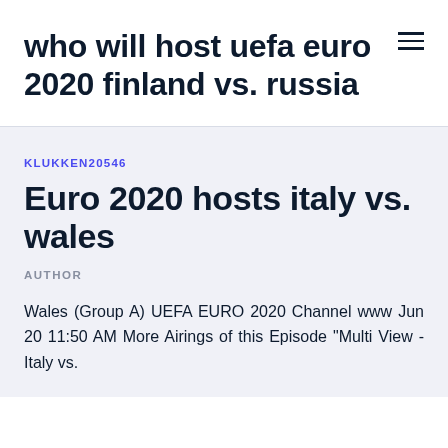who will host uefa euro 2020 finland vs. russia
KLUKKEN20546
Euro 2020 hosts italy vs. wales
AUTHOR
Wales (Group A) UEFA EURO 2020 Channel www Jun 20 11:50 AM More Airings of this Episode "Multi View - Italy vs.